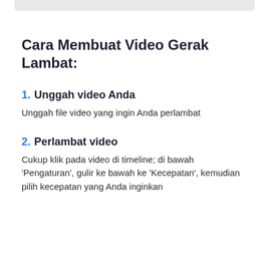Cara Membuat Video Gerak Lambat:
1. Unggah video Anda
Unggah file video yang ingin Anda perlambat
2. Perlambat video
Cukup klik pada video di timeline; di bawah 'Pengaturan', gulir ke bawah ke 'Kecepatan', kemudian pilih kecepatan yang Anda inginkan